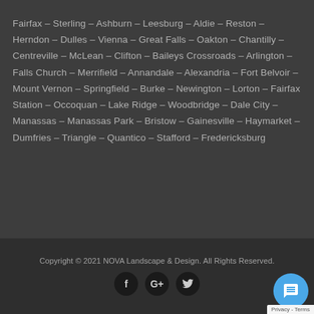Fairfax – Sterling – Ashburn – Leesburg – Aldie – Reston – Herndon – Dulles – Vienna – Great Falls – Oakton – Chantilly – Centreville – McLean – Clifton – Baileys Crossroads – Arlington – Falls Church – Merrifield – Annandale – Alexandria – Fort Belvoir – Mount Vernon – Springfield – Burke – Newington – Lorton – Fairfax Station – Occoquan – Lake Ridge – Woodbridge – Dale City – Manassas – Manassas Park – Bristow – Gainesville – Haymarket – Dumfries – Triangle – Quantico – Stafford – Fredericksburg
Copyright © 2021 NOVA Landscape & Design. All Rights Reserved.